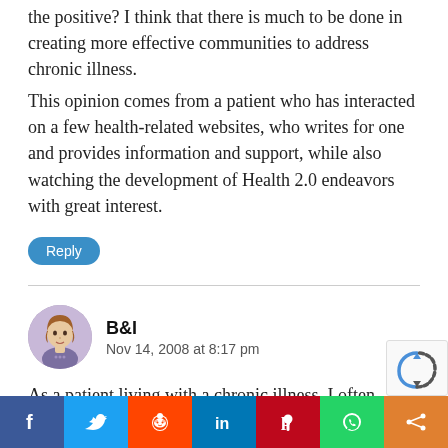the positive? I think that there is much to be done in creating more effective communities to address chronic illness.
This opinion comes from a patient who has interacted on a few health-related websites, who writes for one and provides information and support, while also watching the development of Health 2.0 endeavors with great interest.
Reply
B&I
Nov 14, 2008 at 8:17 pm
As a patient living with a chronic illness, I often wonder if the health 2.0 policy wonks REALLY
[Figure (illustration): Social share bar with icons for Facebook, Twitter, Reddit, LinkedIn, Pinterest, WhatsApp, and a share/more button]